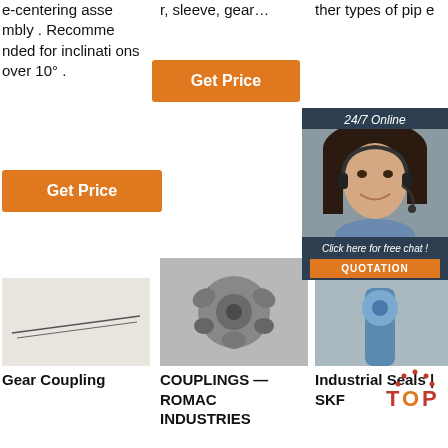e-centering assembly . Recommended for inclinations over 10° .
r, sleeve, gear…
ther types of pipe
[Figure (other): Orange 'Get Price' button (center column)]
[Figure (other): Orange 'Get Price' button partially visible with chat overlay (right column)]
[Figure (other): Orange 'Get Price' button (left column)]
[Figure (other): 24/7 Online chat overlay with female customer service agent headset photo, 'Click here for free chat!' text, and QUOTATION button]
[Figure (photo): Product photo: thin metal needles/pins on white background]
[Figure (photo): Product photo: metal mechanical coupling/joint component]
[Figure (photo): Product photo: industrial seal component (partially obscured by chat overlay)]
Gear Coupling
COUPLINGS — ROMAC INDUSTRIES
Industrial Seals | SKF